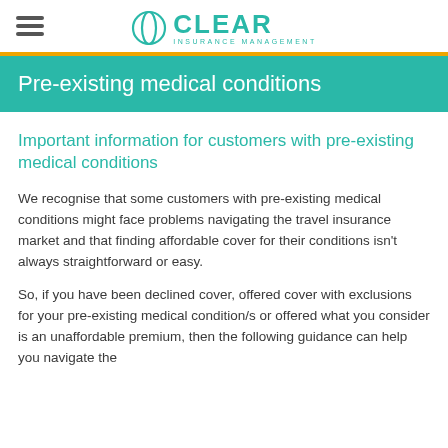CLEAR INSURANCE MANAGEMENT
Pre-existing medical conditions
Important information for customers with pre-existing medical conditions
We recognise that some customers with pre-existing medical conditions might face problems navigating the travel insurance market and that finding affordable cover for their conditions isn't always straightforward or easy.
So, if you have been declined cover, offered cover with exclusions for your pre-existing medical condition/s or offered what you consider is an unaffordable premium, then the following guidance can help you navigate the